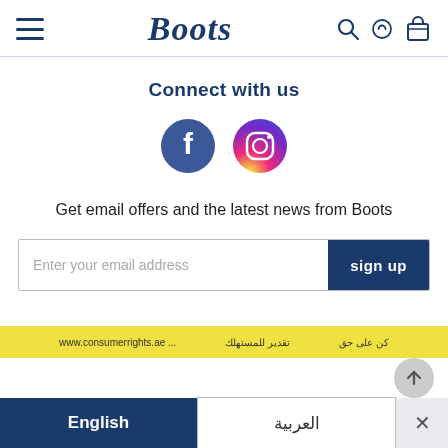Boots logo with hamburger menu, search, wishlist, and basket icons
Connect with us
[Figure (illustration): Facebook circle icon (blue) and Instagram gradient circle icon side by side]
Get email offers and the latest news from Boots
Enter your email address — sign up button
[Figure (infographic): Yellow consumer rights banner strip at bottom with Arabic text]
English | العربية | X (close)